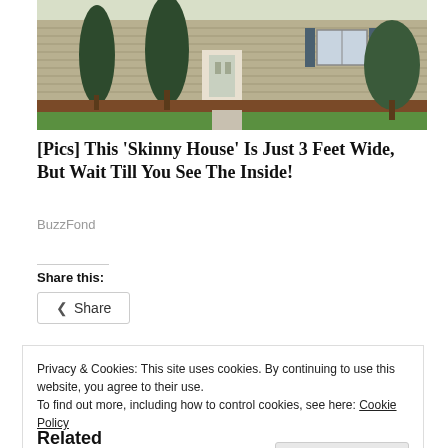[Figure (photo): Exterior photo of a beige/tan house with dark green shutters, evergreen shrubs, a concrete walkway, and green lawn.]
[Pics] This 'Skinny House' Is Just 3 Feet Wide, But Wait Till You See The Inside!
BuzzFond
Share this:
Share
Privacy & Cookies: This site uses cookies. By continuing to use this website, you agree to their use.
To find out more, including how to control cookies, see here: Cookie Policy
Close and accept
Related